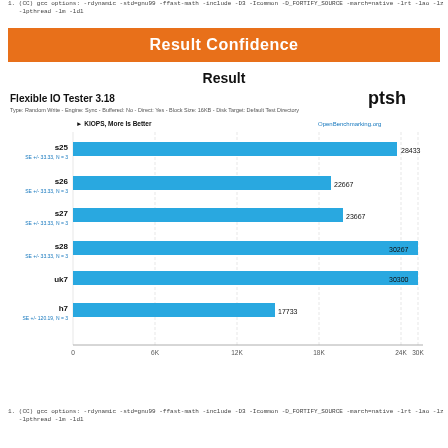1. (CC) gcc options: -rdynamic -std=gnu99 -ffast-math -include -D3 -Icommon -D_FORTIFY_SOURCE -march=native -lrt -lao -lz -lpthread -lm -ldl
Result Confidence
Result
[Figure (bar-chart): Flexible IO Tester 3.18]
1. (CC) gcc options: -rdynamic -std=gnu99 -ffast-math -include -D3 -Icommon -D_FORTIFY_SOURCE -march=native -lrt -lao -lz -lpthread -lm -ldl